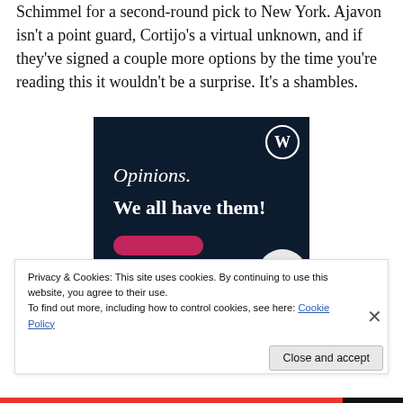Schimmel for a second-round pick to New York. Ajavon isn't a point guard, Cortijo's a virtual unknown, and if they've signed a couple more options by the time you're reading this it wouldn't be a surprise. It's a shambles.
[Figure (illustration): WordPress.com advertisement with dark navy background showing WordPress logo (W in circle) in top right, text 'Opinions. We all have them!' in white serif and bold fonts, with a pink button partially visible at bottom.]
Privacy & Cookies: This site uses cookies. By continuing to use this website, you agree to their use.
To find out more, including how to control cookies, see here: Cookie Policy